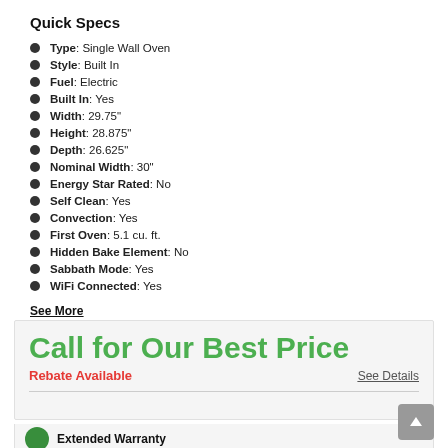Quick Specs
Type: Single Wall Oven
Style: Built In
Fuel: Electric
Built In: Yes
Width: 29.75"
Height: 28.875"
Depth: 26.625"
Nominal Width: 30"
Energy Star Rated: No
Self Clean: Yes
Convection: Yes
First Oven: 5.1 cu. ft.
Hidden Bake Element: No
Sabbath Mode: Yes
WiFi Connected: Yes
See More
Call for Our Best Price
Rebate Available
See Details
Extended Warranty